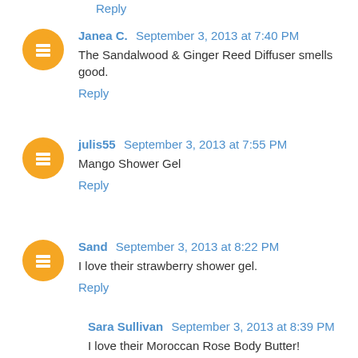Reply
Janea C.  September 3, 2013 at 7:40 PM
The Sandalwood & Ginger Reed Diffuser smells good.
Reply
julis55  September 3, 2013 at 7:55 PM
Mango Shower Gel
Reply
Sand  September 3, 2013 at 8:22 PM
I love their strawberry shower gel.
Reply
Sara Sullivan  September 3, 2013 at 8:39 PM
I love their Moroccan Rose Body Butter!